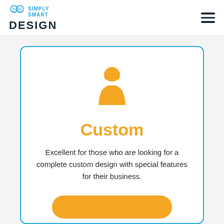SIMPLY SMART DESIGN
[Figure (logo): Simply Smart Design logo with brain icon, teal text 'SIMPLY SMART' and dark navy bold 'DESIGN']
[Figure (illustration): Orange person/user silhouette icon centered in card]
Custom
Excellent for those who are looking for a complete custom design with special features for their business.